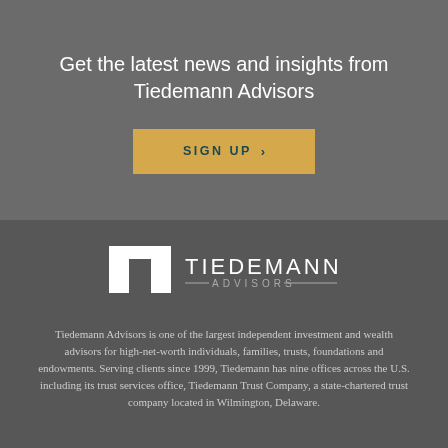Get the latest news and insights from Tiedemann Advisors
[Figure (other): SIGN UP button with chevron arrow, gold/amber background, teal text]
[Figure (logo): Tiedemann Advisors logo — white T-bar icon and TIEDEMANN ADVISORS wordmark on dark background]
Tiedemann Advisors is one of the largest independent investment and wealth advisors for high-net-worth individuals, families, trusts, foundations and endowments. Serving clients since 1999, Tiedemann has nine offices across the U.S. including its trust services office, Tiedemann Trust Company, a state-chartered trust company located in Wilmington, Delaware.